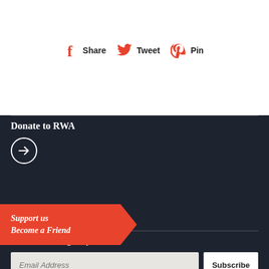[Figure (infographic): Social sharing bar with Facebook Share, Twitter Tweet, and Pinterest Pin icons in red]
Donate to RWA
[Figure (illustration): Circle with right-pointing arrow icon (donate/link button)]
Support us
Become a Friend
Newsletter sign-up
Email Address
Subscribe